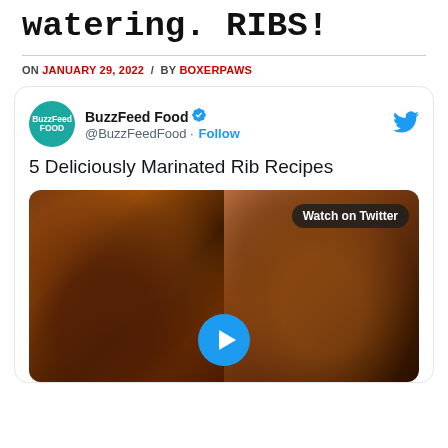watering. RIBS!
ON JANUARY 29, 2022 / BY BOXERPAWS
[Figure (screenshot): Embedded tweet from BuzzFeed Food (@BuzzFeedFood) with title '5 Deliciously Marinated Rib Recipes' and a video thumbnail showing ribs with a 'Watch on Twitter' badge and play button.]